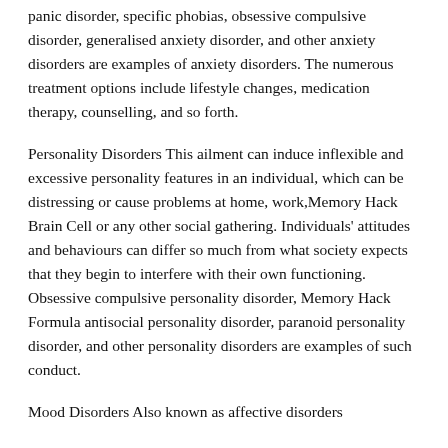panic disorder, specific phobias, obsessive compulsive disorder, generalised anxiety disorder, and other anxiety disorders are examples of anxiety disorders. The numerous treatment options include lifestyle changes, medication therapy, counselling, and so forth.
Personality Disorders This ailment can induce inflexible and excessive personality features in an individual, which can be distressing or cause problems at home, work,Memory Hack Brain Cell or any other social gathering. Individuals' attitudes and behaviours can differ so much from what society expects that they begin to interfere with their own functioning. Obsessive compulsive personality disorder, Memory Hack Formula antisocial personality disorder, paranoid personality disorder, and other personality disorders are examples of such conduct.
Mood Disorders Also known as affective disorders